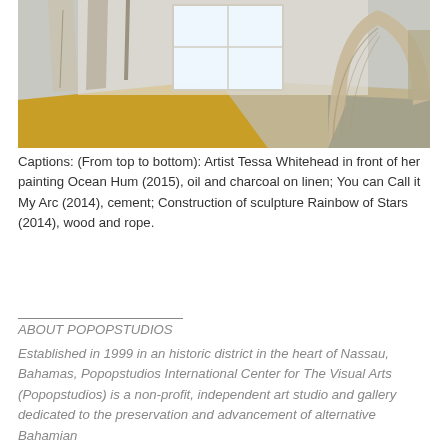[Figure (photo): Interior gallery/studio space showing large draped fabric panels hanging from ceiling on the left, a wooden yellow floor in the center foreground, a bright window in the background, and a textured cement arch sculpture on the right side.]
Captions: (From top to bottom): Artist Tessa Whitehead in front of her painting Ocean Hum (2015), oil and charcoal on linen; You can Call it My Arc (2014), cement; Construction of sculpture Rainbow of Stars (2014), wood and rope.
ABOUT POPOPSTUDIOS
Established in 1999 in an historic district in the heart of Nassau, Bahamas, Popopstudios International Center for The Visual Arts (Popopstudios) is a non-profit, independent art studio and gallery dedicated to the preservation and advancement of alternative Bahamian